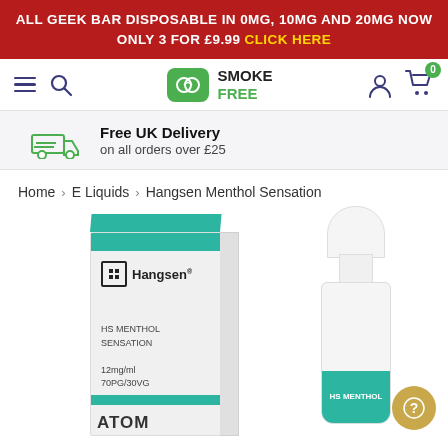ALL GEEK BAR DISPOSABLE IN 0MG, 10MG AND 20MG NOW ONLY 3 FOR £9.99 CLICK HERE
[Figure (screenshot): Smoke Free website navigation bar with hamburger menu, search icon, Smoke Free logo, user icon, and cart icon showing 0 items]
Free UK Delivery on all orders over £25
Home > E Liquids > Hangsen Menthol Sensation
[Figure (photo): Hangsen Menthol Sensation e-liquid product showing a white box with teal top labeled Hangsen, HS MENTHOL SENSATION, 12mg/ml, 70PG/30VG, ATOM, and a dropper bottle with teal label reading HS MENTHOL]